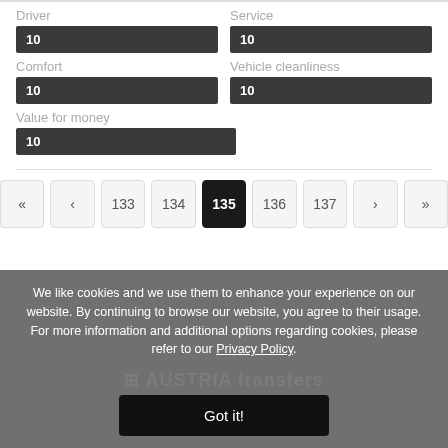Driver
10
Service
10
Comfort
10
Vehicle cleanliness
10
Value for money
10
« ‹ 133 134 135 136 137 › »
We like cookies and we use them to enhance your experience on our website. By continuing to browse our website, you agree to their usage. For more information and additional options regarding cookies, please refer to our Privacy Policy.
Got it!